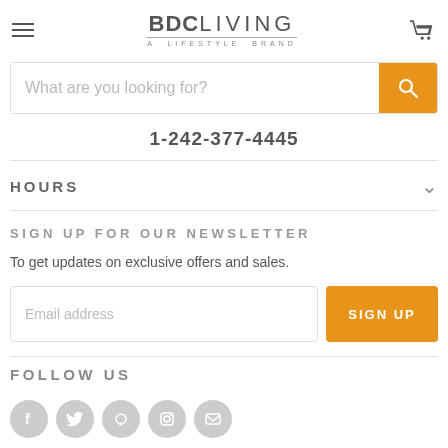BDC LIVING — A LIFESTYLE BRAND
What are you looking for?
1-242-377-4445
HOURS
SIGN UP FOR OUR NEWSLETTER
To get updates on exclusive offers and sales.
Email address
FOLLOW US